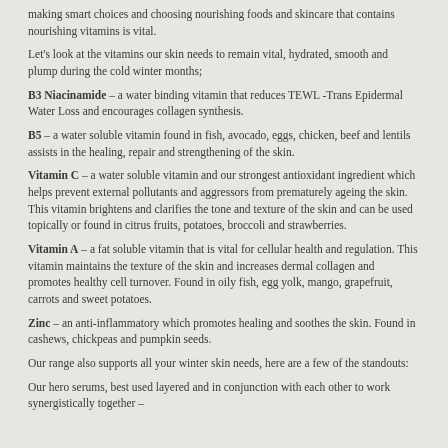making smart choices and choosing nourishing foods and skincare that contains nourishing vitamins is vital.
Let's look at the vitamins our skin needs to remain vital, hydrated, smooth and plump during the cold winter months;
B3 Niacinamide – a water binding vitamin that reduces TEWL -Trans Epidermal Water Loss and encourages collagen synthesis.
B5 – a water soluble vitamin found in fish, avocado, eggs, chicken, beef and lentils assists in the healing, repair and strengthening of the skin.
Vitamin C – a water soluble vitamin and our strongest antioxidant ingredient which helps prevent external pollutants and aggressors from prematurely ageing the skin. This vitamin brightens and clarifies the tone and texture of the skin and can be used topically or found in citrus fruits, potatoes, broccoli and strawberries.
Vitamin A – a fat soluble vitamin that is vital for cellular health and regulation. This vitamin maintains the texture of the skin and increases dermal collagen and promotes healthy cell turnover. Found in oily fish, egg yolk, mango, grapefruit, carrots and sweet potatoes.
Zinc – an anti-inflammatory which promotes healing and soothes the skin. Found in cashews, chickpeas and pumpkin seeds.
Our range also supports all your winter skin needs, here are a few of the standouts:
Our hero serums, best used layered and in conjunction with each other to work synergistically together –